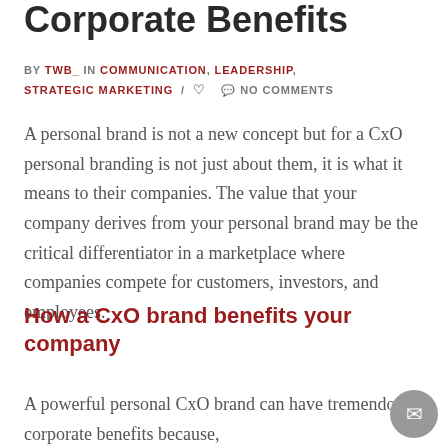Corporate Benefits
BY TWB_ IN COMMUNICATION, LEADERSHIP, STRATEGIC MARKETING / ♡ 💬 NO COMMENTS
A personal brand is not a new concept but for a CxO personal branding is not just about them, it is what it means to their companies. The value that your company derives from your personal brand may be the critical differentiator in a marketplace where companies compete for customers, investors, and employees.
How a CxO brand benefits your company
A powerful personal CxO brand can have tremendous corporate benefits because,